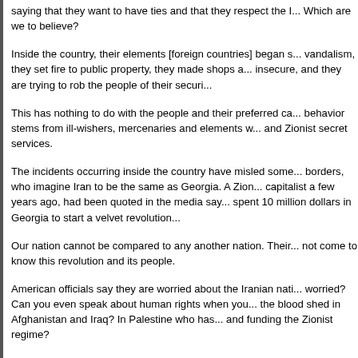saying that they want to have ties and that they respect the I... Which are we to believe?
Inside the country, their elements [foreign countries] began s... vandalism, they set fire to public property, they made shops a... insecure, and they are trying to rob the people of their securi...
This has nothing to do with the people and their preferred ca... behavior stems from ill-wishers, mercenaries and elements w... and Zionist secret services.
The incidents occurring inside the country have misled some... borders, who imagine Iran to be the same as Georgia. A Zio... capitalist a few years ago, had been quoted in the media say... spent 10 million dollars in Georgia to start a velvet revolution...
Our nation cannot be compared to any another nation. Their... not come to know this revolution and its people.
American officials say they are worried about the Iranian nati... worried? Can you even speak about human rights when you ... the blood shed in Afghanistan and Iraq? In Palestine who has... and funding the Zionist regime?
During the term of a previous US government, eighty people... Davidian sect were burnt alive in their compound in Waco, Te...